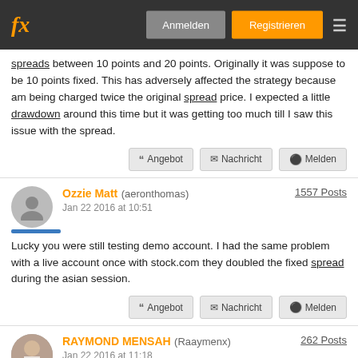fx  Anmelden  Registrieren
spreads between 10 points and 20 points. Originally it was suppose to be 10 points fixed. This has adversely affected the strategy because am being charged twice the original spread price. I expected a little drawdown around this time but it was getting too much till I saw this issue with the spread.
Angebot  Nachricht  Melden
Ozzie Matt (aeronthomas)  1557 Posts
Jan 22 2016 at 10:51
Lucky you were still testing demo account. I had the same problem with a live account once with stock.com they doubled the fixed spread during the asian session.
Angebot  Nachricht  Melden
RAYMOND MENSAH (Raaymenx)  262 Posts
Jan 22 2016 at 11:18
Sorry Ozzie Matt... I will make a few changes to adjust to the new spread to see how it goes. TRADING AINT EASY!!!